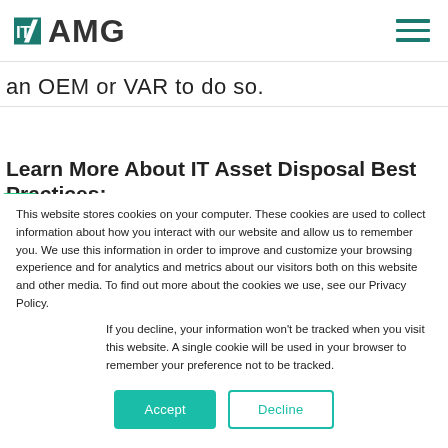ITAMG logo and navigation
an OEM or VAR to do so.
Learn More About IT Asset Disposal Best Practices:
This website stores cookies on your computer. These cookies are used to collect information about how you interact with our website and allow us to remember you. We use this information in order to improve and customize your browsing experience and for analytics and metrics about our visitors both on this website and other media. To find out more about the cookies we use, see our Privacy Policy.
If you decline, your information won't be tracked when you visit this website. A single cookie will be used in your browser to remember your preference not to be tracked.
Accept   Decline